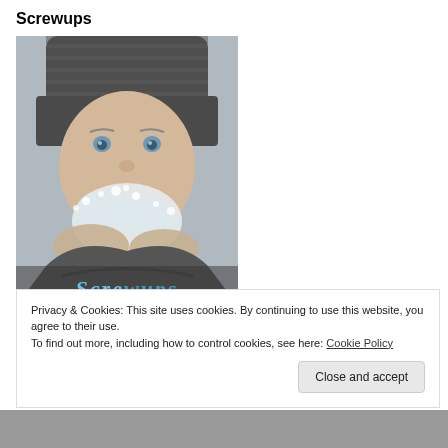Screwups
[Figure (photo): Book cover showing a person wearing a knitted winter hat blowing snow from their hands, with the word 'Screwups' in blue stylized text at the bottom of the image.]
Privacy & Cookies: This site uses cookies. By continuing to use this website, you agree to their use.
To find out more, including how to control cookies, see here: Cookie Policy
Close and accept